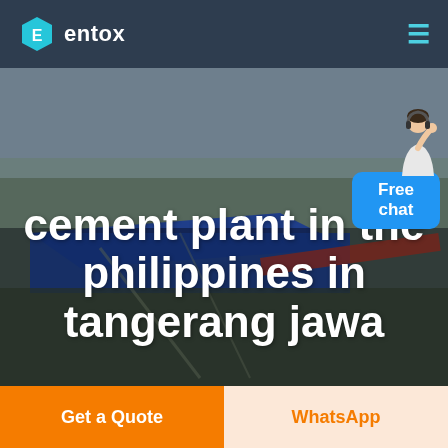entox
[Figure (photo): Aerial view of an industrial cement plant facility with large blue roof structures, conveyor belts, and surrounding flat landscape under overcast sky]
cement plant in the philippines in tangerang jawa
[Figure (illustration): Free chat widget with an agent figure and blue button labeled 'Free chat']
Get a Quote
WhatsApp